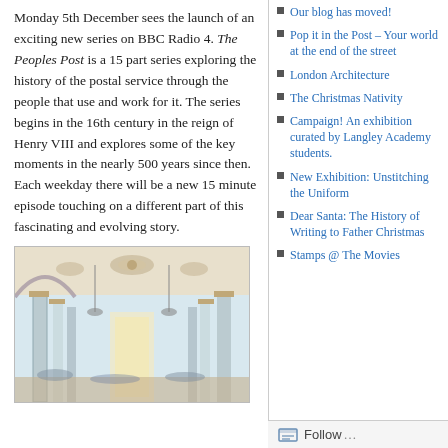Monday 5th December sees the launch of an exciting new series on BBC Radio 4. The Peoples Post is a 15 part series exploring the history of the postal service through the people that use and work for it. The series begins in the 16th century in the reign of Henry VIII and explores some of the key moments in the nearly 500 years since then. Each weekday there will be a new 15 minute episode touching on a different part of this fascinating and evolving story.
[Figure (illustration): Illustration of a grand postal hall interior with ornate columns, decorative ceiling, and people inside, rendered in a painterly style.]
Our blog has moved!
Pop it in the Post – Your world at the end of the street
London Architecture
The Christmas Nativity
Campaign! An exhibition curated by Langley Academy students.
New Exhibition: Unstitching the Uniform
Dear Santa: The History of Writing to Father Christmas
Stamps @ The Movies